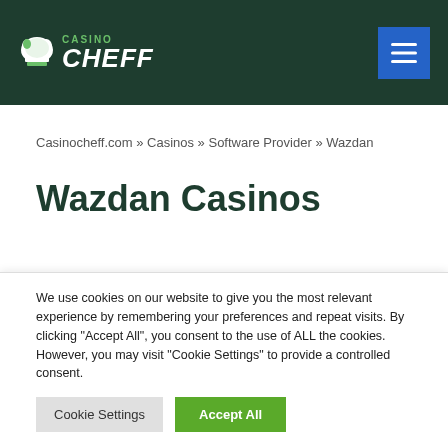Casino Cheff
Casinocheff.com » Casinos » Software Provider » Wazdan
Wazdan Casinos
We use cookies on our website to give you the most relevant experience by remembering your preferences and repeat visits. By clicking "Accept All", you consent to the use of ALL the cookies. However, you may visit "Cookie Settings" to provide a controlled consent.
Cookie Settings | Accept All